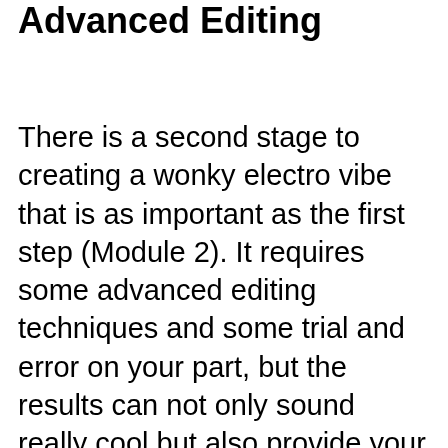Advanced Editing
There is a second stage to creating a wonky electro vibe that is as important as the first step (Module 2). It requires some advanced editing techniques and some trial and error on your part, but the results can not only sound really cool but also provide your tracks with a really unique and great vibe. After